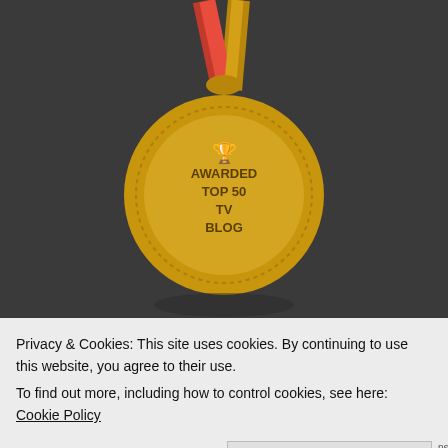[Figure (illustration): Gold award medal with red and gold ribbon, text reads AWARDED TOP 50 TV BLOG with a trophy icon]
TMINE ON FACEBOOK
[Figure (screenshot): Dark gray Facebook widget embed area]
Privacy & Cookies: This site uses cookies. By continuing to use this website, you agree to their use.
To find out more, including how to control cookies, see here: Cookie Policy
Close and accept
SUBSCRIBE TO TMINE BY EMAIL